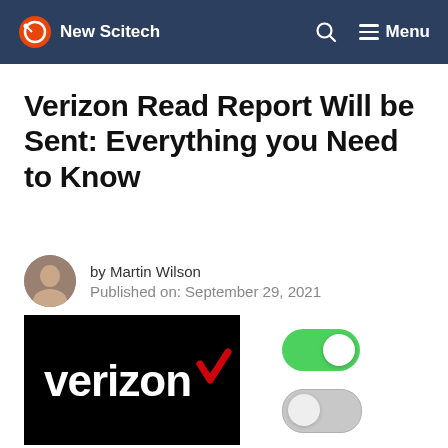New Scitech — Menu
Verizon Read Report Will be Sent: Everything you Need to Know
by Martin Wilson
Published on: September 29, 2021
[Figure (logo): Verizon logo — white text 'verizon' with red checkmark on black background]
[Figure (infographic): Two toggle switches: one green (on), one gray (off)]